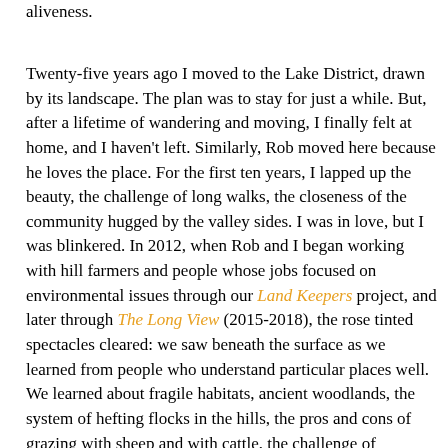aliveness.
Twenty-five years ago I moved to the Lake District, drawn by its landscape. The plan was to stay for just a while. But, after a lifetime of wandering and moving, I finally felt at home, and I haven't left. Similarly, Rob moved here because he loves the place. For the first ten years, I lapped up the beauty, the challenge of long walks, the closeness of the community hugged by the valley sides. I was in love, but I was blinkered. In 2012, when Rob and I began working with hill farmers and people whose jobs focused on environmental issues through our Land Keepers project, and later through The Long View (2015-2018), the rose tinted spectacles cleared: we saw beneath the surface as we learned from people who understand particular places well. We learned about fragile habitats, ancient woodlands, the system of hefting flocks in the hills, the pros and cons of grazing with sheep and with cattle, the challenge of supplying drinking water from the Lakeland fells, the impact of severe weather events, the value